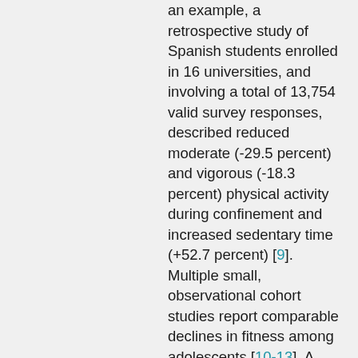an example, a retrospective study of Spanish students enrolled in 16 universities, and involving a total of 13,754 valid survey responses, described reduced moderate (-29.5 percent) and vigorous (-18.3 percent) physical activity during confinement and increased sedentary time (+52.7 percent) [9]. Multiple small, observational cohort studies report comparable declines in fitness among adolescents [10-13]. A small case-control study of children reported a substantial decline in the mean maximum oxygen uptake in a post-COVID-19 cohort